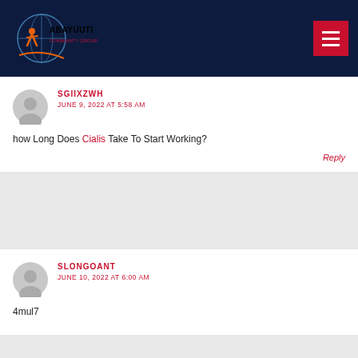ABAYUUTI COMMUNITY GROUP
SGIIXZWH
JUNE 9, 2022 AT 5:58 AM
how Long Does Cialis Take To Start Working?
Reply
SLONGOANT
JUNE 10, 2022 AT 6:00 AM
4mul7